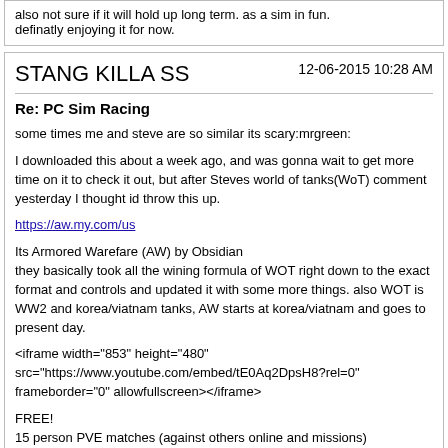also not sure if it will hold up long term. as a sim in fun. definatly enjoying it for now.
STANG KILLA SS
12-06-2015 10:28 AM
Re: PC Sim Racing
some times me and steve are so similar its scary:mrgreen:
I downloaded this about a week ago, and was gonna wait to get more time on it to check it out, but after Steves world of tanks(WoT) comment yesterday I thought id throw this up.
https://aw.my.com/us
Its Armored Warefare (AW) by Obsidian
they basically took all the wining formula of WOT right down to the exact format and controls and updated it with some more things. also WOT is WW2 and korea/viatnam tanks, AW starts at korea/viatnam and goes to present day.
<iframe width="853" height="480" src="https://www.youtube.com/embed/tE0Aq2DpsH8?rel=0" frameborder="0" allowfullscreen></iframe>
FREE!
15 person PVE matches (against others online and missions)
Co-op PVP matches (team up with your buddies agains others online)
Custom Matches